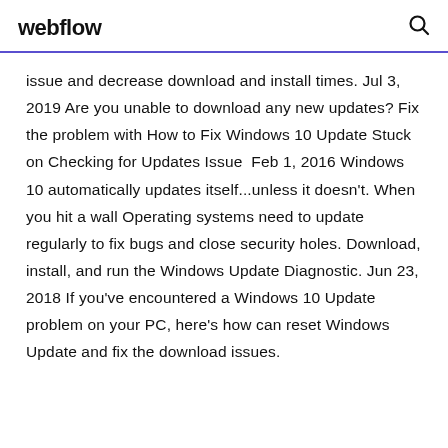webflow
issue and decrease download and install times. Jul 3, 2019 Are you unable to download any new updates? Fix the problem with How to Fix Windows 10 Update Stuck on Checking for Updates Issue  Feb 1, 2016 Windows 10 automatically updates itself...unless it doesn't. When you hit a wall Operating systems need to update regularly to fix bugs and close security holes. Download, install, and run the Windows Update Diagnostic. Jun 23, 2018 If you've encountered a Windows 10 Update problem on your PC, here's how can reset Windows Update and fix the download issues.